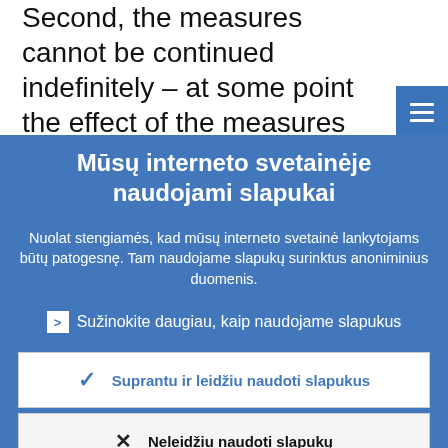Second, the measures cannot be continued indefinitely – at some point the effect of the measures will get weaker and the risks w predominate.
Mūsų interneto svetainėje naudojami slapukai
Nuolat stengiamės, kad mūsų interneto svetainė lankytojams būtų patogesnė. Tam naudojame slapukų surinktus anoniminius duomenis.
> Sužinokite daugiau, kaip naudojame slapukus
✓ Suprantu ir leidžiu naudoti slapukus
✕ Neleidžiu naudoti slapukų